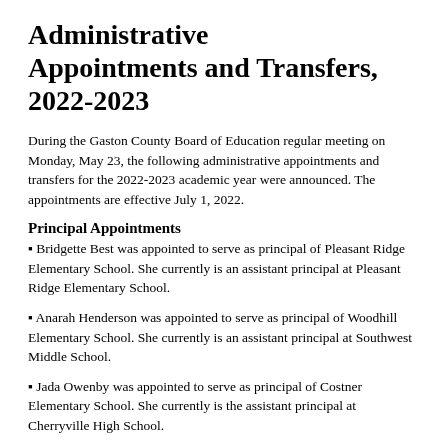Administrative Appointments and Transfers, 2022-2023
During the Gaston County Board of Education regular meeting on Monday, May 23, the following administrative appointments and transfers for the 2022-2023 academic year were announced.  The appointments are effective July 1, 2022.
Principal Appointments
▪ Bridgette Best was appointed to serve as principal of Pleasant Ridge Elementary School.  She currently is an assistant principal at Pleasant Ridge Elementary School.
▪ Anarah Henderson was appointed to serve as principal of Woodhill Elementary School.  She currently is an assistant principal at Southwest Middle School.
▪ Jada Owenby was appointed to serve as principal of Costner Elementary School.  She currently is the assistant principal at Cherryville High School.